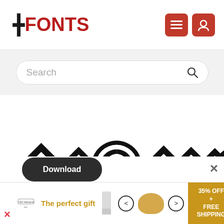[Figure (logo): FFonts logo with double-F prefix in dark and red text]
[Figure (screenshot): Search bar with placeholder text 'Search' and magnifying glass icon]
[Figure (illustration): Font preview showing stylized diamond/hazard symbols in black including a biohazard symbol]
[Figure (screenshot): Download button (dark rounded pill) and advertisement banner with 'The perfect gift' text and 35% OFF FREE SHIPPING offer]